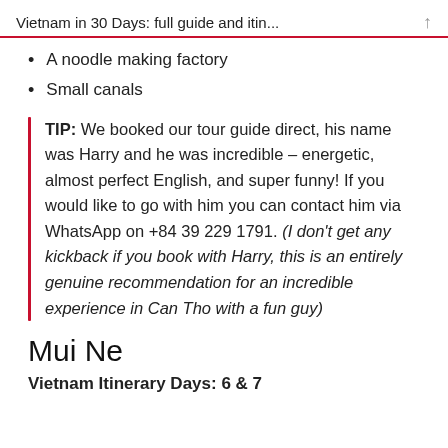Vietnam in 30 Days: full guide and itin...
A noodle making factory
Small canals
TIP: We booked our tour guide direct, his name was Harry and he was incredible – energetic, almost perfect English, and super funny! If you would like to go with him you can contact him via WhatsApp on +84 39 229 1791. (I don't get any kickback if you book with Harry, this is an entirely genuine recommendation for an incredible experience in Can Tho with a fun guy)
Mui Ne
Vietnam Itinerary Days: 6 & 7